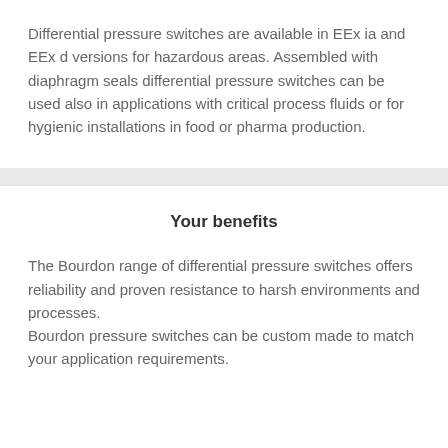Differential pressure switches are available in EEx ia and EEx d versions for hazardous areas. Assembled with diaphragm seals differential pressure switches can be used also in applications with critical process fluids or for hygienic installations in food or pharma production.
Your benefits
The Bourdon range of differential pressure switches offers reliability and proven resistance to harsh environments and processes.
Bourdon pressure switches can be custom made to match your application requirements.